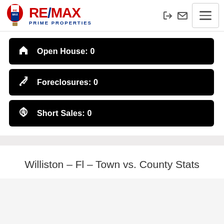[Figure (logo): RE/MAX Prime Properties logo with hot air balloon]
Open House: 0
Foreclosures: 0
Short Sales: 0
Williston – Fl – Town vs. County Stats